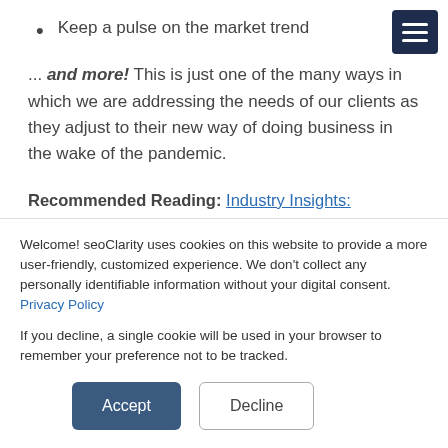Keep a pulse on the market trend
... and more! This is just one of the many ways in which we are addressing the needs of our clients as they adjust to their new way of doing business in the wake of the pandemic.
Recommended Reading: Industry Insights: Coronavirus' Impact on Search
Welcome! seoClarity uses cookies on this website to provide a more user-friendly, customized experience. We don't collect any personally identifiable information without your digital consent. Privacy Policy

If you decline, a single cookie will be used in your browser to remember your preference not to be tracked.